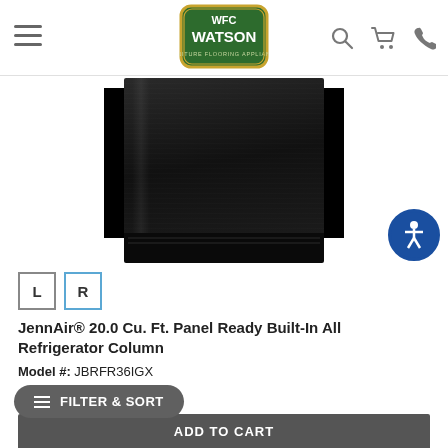WFC Watson Furniture Flooring Appliances
[Figure (photo): Black panel-ready refrigerator column product photo on white background]
L  R (door swing options, R selected/highlighted)
JennAir® 20.0 Cu. Ft. Panel Ready Built-In All Refrigerator Column
Model #: JBRFR36IGX
4.8 ★★★★★ (13)
FILTER & SORT
ADD TO CART